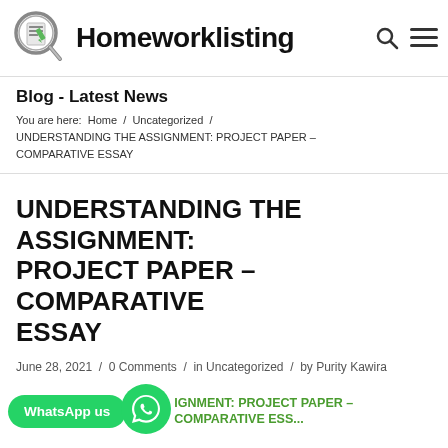Homeworklisting
Blog - Latest News
You are here:  Home  /  Uncategorized  /  UNDERSTANDING THE ASSIGNMENT: PROJECT PAPER – COMPARATIVE ESSAY
UNDERSTANDING THE ASSIGNMENT: PROJECT PAPER – COMPARATIVE ESSAY
June 28, 2021  /  0 Comments  /  in Uncategorized  /  by Purity Kawira
WhatsApp us  UNDERSTANDING THE ASSIGNMENT: PROJECT PAPER – COMPARATIVE ESSAY